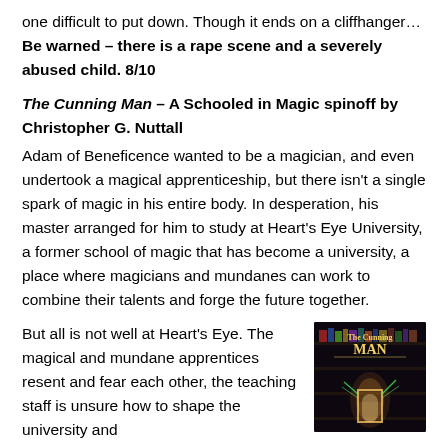one difficult to put down. Though it ends on a cliffhanger… Be warned – there is a rape scene and a severely abused child. 8/10
The Cunning Man – A Schooled in Magic spinoff by Christopher G. Nuttall
Adam of Beneficence wanted to be a magician, and even undertook a magical apprenticeship, but there isn't a single spark of magic in his entire body. In desperation, his master arranged for him to study at Heart's Eye University, a former school of magic that has become a university, a place where magicians and mundanes can work to combine their talents and forge the future together.
But all is not well at Heart's Eye. The magical and mundane apprentices resent and fear each other, the teaching staff is unsure how to shape the university and
[Figure (photo): Book cover of 'The Cunning Man' showing a dark fantasy scene with glowing magical doorway and the title text]